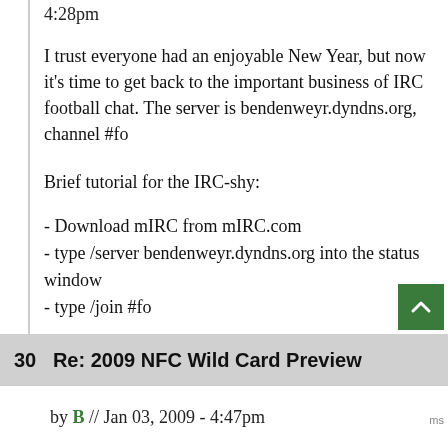4:28pm
I trust everyone had an enjoyable New Year, but now it's time to get back to the important business of IRC football chat. The server is bendenweyr.dyndns.org, channel #fo
Brief tutorial for the IRC-shy:
- Download mIRC from mIRC.com
- type /server bendenweyr.dyndns.org into the status window
- type /join #fo
30   Re: 2009 NFC Wild Card Preview
by B // Jan 03, 2009 - 4:47pm